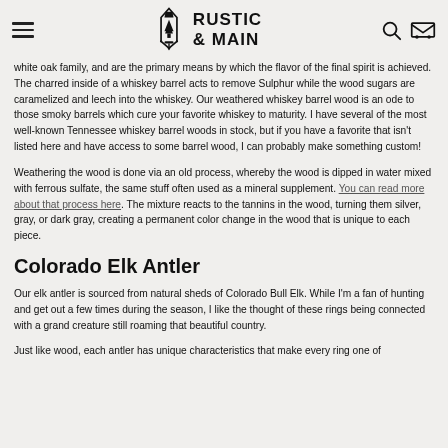RUSTIC & MAIN
white oak family, and are the primary means by which the flavor of the final spirit is achieved. The charred inside of a whiskey barrel acts to remove Sulphur while the wood sugars are caramelized and leech into the whiskey. Our weathered whiskey barrel wood is an ode to those smoky barrels which cure your favorite whiskey to maturity. I have several of the most well-known Tennessee whiskey barrel woods in stock, but if you have a favorite that isn't listed here and have access to some barrel wood, I can probably make something custom!
Weathering the wood is done via an old process, whereby the wood is dipped in water mixed with ferrous sulfate, the same stuff often used as a mineral supplement. You can read more about that process here. The mixture reacts to the tannins in the wood, turning them silver, gray, or dark gray, creating a permanent color change in the wood that is unique to each piece.
Colorado Elk Antler
Our elk antler is sourced from natural sheds of Colorado Bull Elk. While I'm a fan of hunting and get out a few times during the season, I like the thought of these rings being connected with a grand creature still roaming that beautiful country.
Just like wood, each antler has unique characteristics that make every ring one of